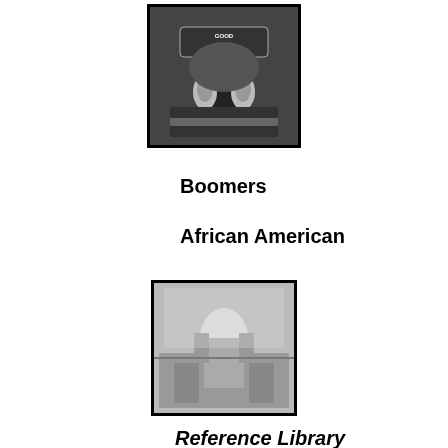[Figure (illustration): Black and white cartoon animation still with framed border]
Boomers
African American
[Figure (illustration): Black and white cartoon/comic strip panel with framed border]
Reference Library
[Figure (logo): YouTube logo]
[Figure (logo): Instagram, Facebook, and Twitter social media icons]
Animation
[Figure (photo): Jerry Lewis comic book cover photo with framed border, partial view]